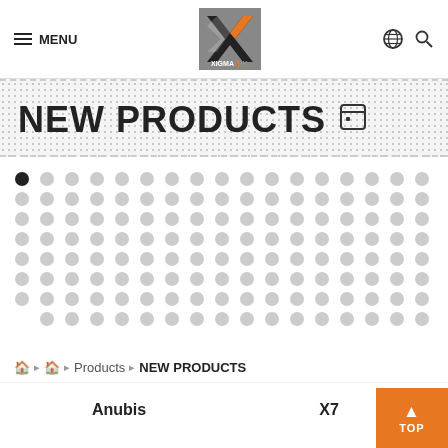MENU | XIGMATEK logo | globe icon | search icon
NEW PRODUCTS
[Figure (illustration): Dot pattern decoration — a grid of small grey circles with one black filled circle at top-left, spanning the full width of the content area]
🏠 🏠 Products 🏠 NEW PRODUCTS
Anubis
X7